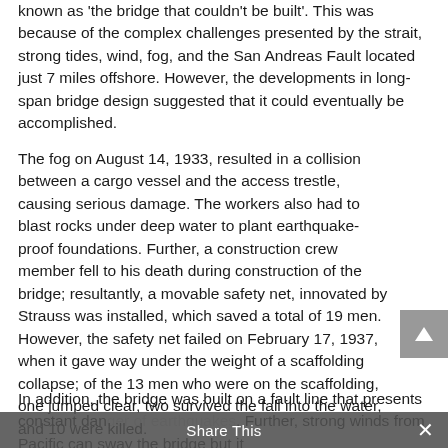known as 'the bridge that couldn't be built'. This was because of the complex challenges presented by the strait, strong tides, wind, fog, and the San Andreas Fault located just 7 miles offshore. However, the developments in long-span bridge design suggested that it could eventually be accomplished.
The fog on August 14, 1933, resulted in a collision between a cargo vessel and the access trestle, causing serious damage. The workers also had to blast rocks under deep water to plant earthquake-proof foundations. Further, a construction crew member fell to his death during construction of the bridge; resultantly, a movable safety net, innovated by Strauss was installed, which saved a total of 19 men. However, the safety net failed on February 17, 1937, when it gave way under the weight of a scaffolding collapse; of the 13 men who were on the scaffolding, one jumped clear, two survived the fall into the water, and 10 were killed.
In addition, the bridge was built on a fault line that presents constant danger of earthquakes. Further, strong winds from Pacific can sway the bridge but it